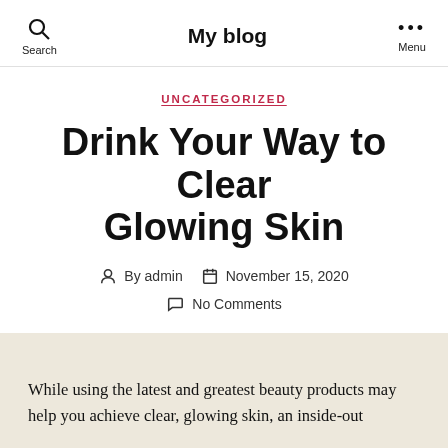My blog
UNCATEGORIZED
Drink Your Way to Clear Glowing Skin
By admin   November 15, 2020   No Comments
While using the latest and greatest beauty products may help you achieve clear, glowing skin, an inside-out